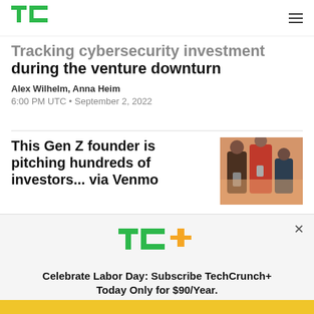TechCrunch
Tracking cybersecurity investment during the venture downturn
Alex Wilhelm, Anna Heim
6:00 PM UTC • September 2, 2022
This Gen Z founder is pitching hundreds of investors... via Venmo
[Figure (photo): Photo of people looking at phones/devices]
Celebrate Labor Day: Subscribe TechCrunch+ Today Only for $90/Year.
GET OFFER NOW